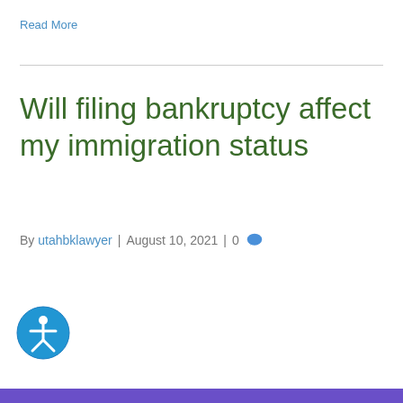Read More
Will filing bankruptcy affect my immigration status
By utahbklawyer | August 10, 2021 | 0
[Figure (illustration): Blue circular accessibility icon showing a person figure, indicating accessibility/ADA compliance widget]